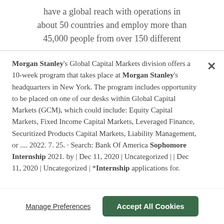have a global reach with operations in about 50 countries and employ more than 45,000 people from over 150 different
Morgan Stanley's Global Capital Markets division offers a 10-week program that takes place at Morgan Stanley's headquarters in New York. The program includes opportunity to be placed on one of our desks within Global Capital Markets (GCM), which could include: Equity Capital Markets, Fixed Income Capital Markets, Leveraged Finance, Securitized Products Capital Markets, Liability Management, or .... 2022. 7. 25. · Search: Bank Of America Sophomore Internship 2021. by | Dec 11, 2020 | Uncategorized | | Dec 11, 2020 | Uncategorized | *Internship applications for.
Manage Preferences
Accept All Cookies